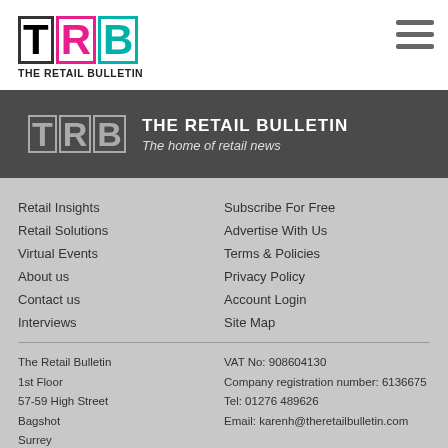[Figure (logo): TRB The Retail Bulletin logo with coloured block letters T (black), R (magenta), B (teal) and text 'THE RETAIL BULLETIN' below]
[Figure (logo): TRB The Retail Bulletin dark banner logo with grey/white text 'THE RETAIL BULLETIN' and subtitle 'The home of retail news']
Retail Insights
Retail Solutions
Virtual Events
About us
Contact us
Interviews
Subscribe For Free
Advertise With Us
Terms & Policies
Privacy Policy
Account Login
Site Map
The Retail Bulletin
1st Floor
57-59 High Street
Bagshot
Surrey
GU19 5AH
VAT No: 908604130
Company registration number: 6136675
Tel: 01276 489626
Email: karenh@theretailbulletin.com
The Retail Bulletin Events LTD
1 Appleton Court
Calder Park, Wakefield,
West Yorkshire
WF2 7AR